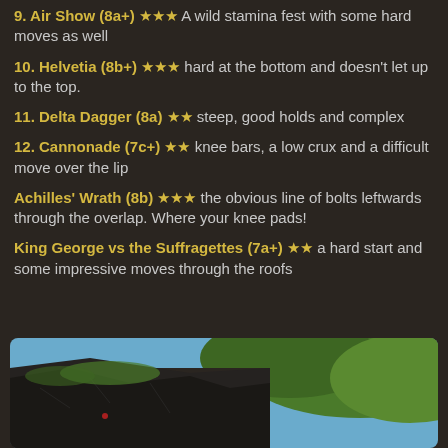9. Air Show (8a+) ★★★ A wild stamina fest with some hard moves as well
10. Helvetia (8b+) ★★★ hard at the bottom and doesn't let up to the top.
11. Delta Dagger (8a) ★★ steep, good holds and complex
12. Cannonade (7c+) ★★ knee bars, a low crux and a difficult move over the lip
Achilles' Wrath (8b) ★★★ the obvious line of bolts leftwards through the overlap. Where your knee pads!
King George vs the Suffragettes (7a+) ★★ a hard start and some impressive moves through the roofs
[Figure (photo): Outdoor rock climbing crag photo showing dark rocky cliff face with green vegetation and blue sky in the background]